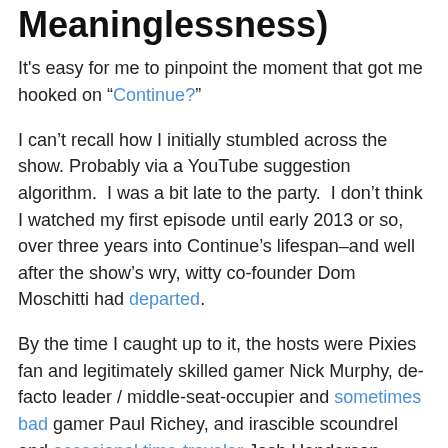Meaninglessness)
It's easy for me to pinpoint the moment that got me hooked on “Continue?”
I can’t recall how I initially stumbled across the show. Probably via a YouTube suggestion algorithm.  I was a bit late to the party.  I don’t think I watched my first episode until early 2013 or so, over three years into Continue’s lifespan–and well after the show’s wry, witty co-founder Dom Moschitti had departed.
By the time I caught up to it, the hosts were Pixies fan and legitimately skilled gamer Nick Murphy, de-facto leader / middle-seat-occupier and sometimes bad gamer Paul Richey, and irascible scoundrel and occasional time-traveler Josh Henderson, Dom’s replacement.